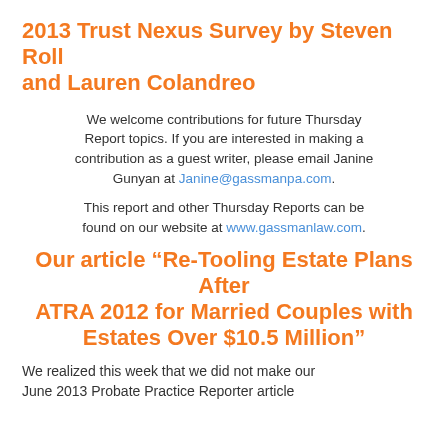2013 Trust Nexus Survey by Steven Roll and Lauren Colandreo
We welcome contributions for future Thursday Report topics. If you are interested in making a contribution as a guest writer, please email Janine Gunyan at Janine@gassmanpa.com.
This report and other Thursday Reports can be found on our website at www.gassmanlaw.com.
Our article “Re-Tooling Estate Plans After ATRA 2012 for Married Couples with Estates Over $10.5 Million”
We realized this week that we did not make our June 2013 Probate Practice Reporter article